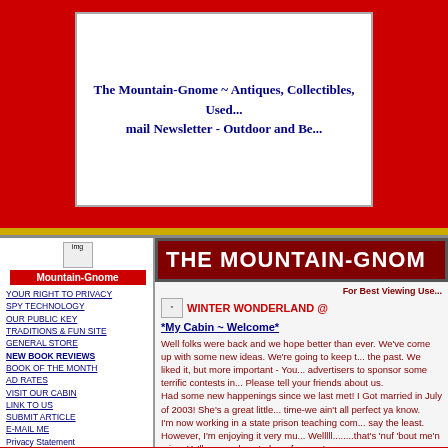[Figure (screenshot): Website header banner showing 'The Mountain-Gnome ~ Antiques, Collectibles, Used... mail Newsletter - Outdoor and Be...' text on white background with red page background]
THE MOUNTAIN-GNOME
For Best Viewing Use...
WINTER WONDERLAND @
YOUR RIGHT TO PRIVACY
SPY TECHNOLOGY
OUR PUBLIC KEY
TRADITIONS & FUN SITE
GENERAL STORE
NEW BOOK REVIEWS
BOOK OF THE MONTH
AD RATES
VISIT OUR CABIN
LINK TO US
SUBMIT ARTICLE
E-MAIL ME
Privacy Statement
OLD ISSUES
LATEST ISSUE
AKC YORKIE'S
NEW PUPPIES: Click Here to go to the pet shop and view the new puppies for sale!
*My Cabin ~ Welcome*
Well folks were back and we hope better than ever. We've come up with some new ideas. We're going to keep the cabin look from the past. We liked it, but more important - You liked it. We're working with advertisers to sponsor some terrific contests in the future. Please tell your friends about us. Had some new happenings since we last met! I Got married in July of 2003! She's a great little gal - most of the time-we ain't all perfect ya know. I'm now working in a state prison teaching computers - interesting to say the least. However, I'm enjoying it very much. Welllll........that's 'nuf 'bout me'n mine. Ya'll e-mail me sometime - I'd love to hear from ya!